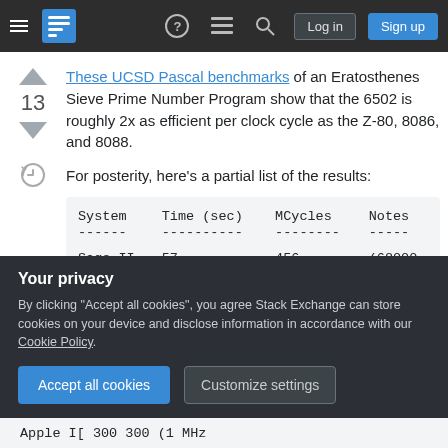Stack Exchange navigation bar with hamburger menu, logo, help, chat, search icons, Log in and Sign up buttons
These UCSD Pascal benchmarks of an Eratosthenes Sieve Prime Number Program show that the 6502 is roughly 2x as efficient per clock cycle as the Z-80, 8086, and 8088.
For posterity, here's a partial list of the results:
| System | Time (sec) | MCycles | Notes |
| --- | --- | --- | --- |
| ------ | ---------- | -------- | ----- |
| Sage II | 57 | 456 | (68000 |
Your privacy
By clicking "Accept all cookies", you agree Stack Exchange can store cookies on your device and disclose information in accordance with our Cookie Policy.
Apple I[...] 300 300 (1 MHz...